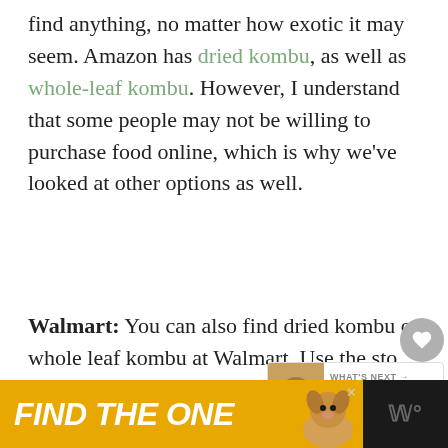find anything, no matter how exotic it may seem. Amazon has dried kombu, as well as whole-leaf kombu. However, I understand that some people may not be willing to purchase food online, which is why we've looked at other options as well.
Walmart: You can also find dried kombu or whole leaf kombu at Walmart. Use the store locator on the company website to determine what's available in stores and online.
[Figure (screenshot): UI overlay with heart (save) button and share button as circular grey icons, and a 'What's Next' widget showing 'Where To Buy Soy Curls (+...' with a food thumbnail image]
[Figure (screenshot): Bottom advertisement banner with dark background showing 'FIND THE ONE' text on gold/yellow background with a dog image and a streaming service logo on the right]